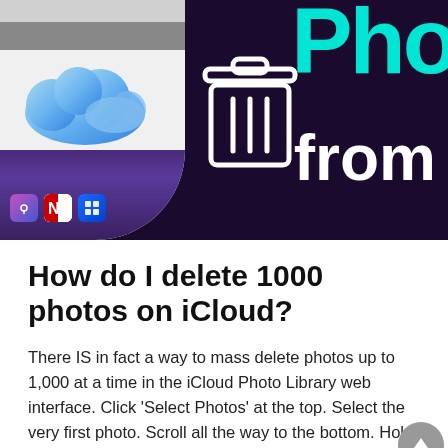[Figure (illustration): Hero banner image showing iCloud icon with a trash/delete icon on a dark purple background, with partial text 'Pho' in cyan and 'from' in white, and a Mac dock on the left side]
How do I delete 1000 photos on iCloud?
There IS in fact a way to mass delete photos up to 1,000 at a time in the iCloud Photo Library web interface. Click 'Select Photos' at the top. Select the very first photo. Scroll all the way to the bottom. Hold the SHIFT key and